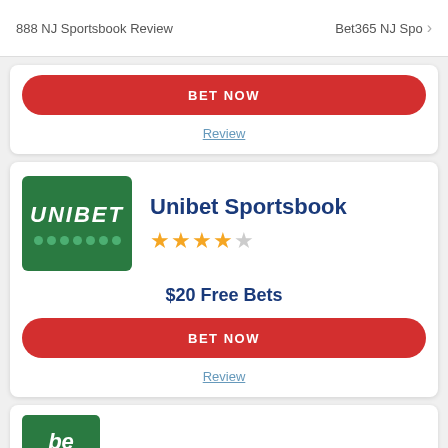888 NJ Sportsbook Review   Bet365 NJ Spo >
[Figure (other): Red BET NOW button (top card, partially visible)]
Review
[Figure (logo): Unibet green logo with UNIBET text and dots]
Unibet Sportsbook
★★★★☆
$20 Free Bets
BET NOW
Review
[Figure (logo): Green logo at bottom with 'be' text visible, partially cropped]